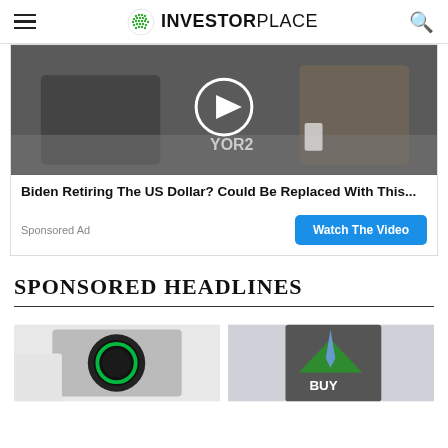INVESTORPLACE
[Figure (screenshot): Video thumbnail showing two people at a table with text YOR2 visible, with a circular play button overlay]
Biden Retiring The US Dollar? Could Be Replaced With This...
Sponsored Ad
Watch The Video
SPONSORED HEADLINES
[Figure (photo): Electric vehicle charging port with green glowing ring]
[Figure (photo): Man in suit opening shirt to reveal green BUY arrow sign]